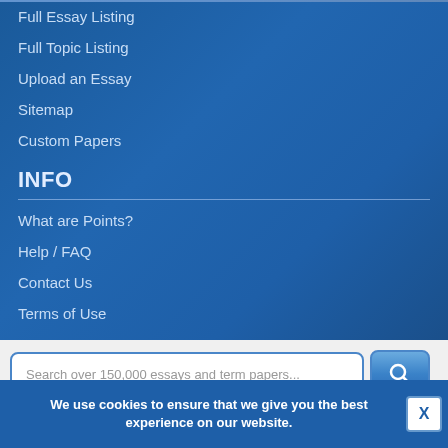Full Essay Listing
Full Topic Listing
Upload an Essay
Sitemap
Custom Papers
INFO
What are Points?
Help / FAQ
Contact Us
Terms of Use
Search over 150,000 essays and term papers...
We use cookies to ensure that we give you the best experience on our website.